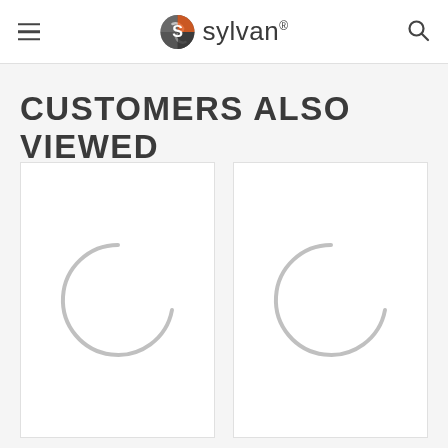Sylvan
CUSTOMERS ALSO VIEWED
[Figure (other): Loading spinner circle arc on white product card background]
[Figure (other): Loading spinner circle arc on white product card background]